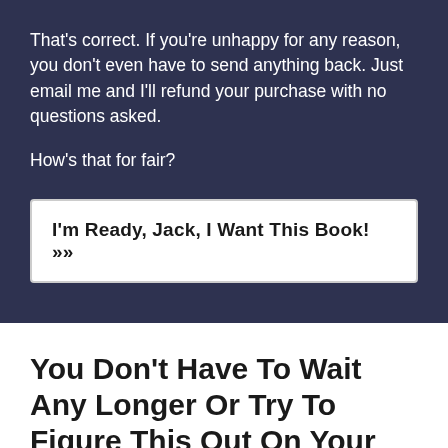That's correct. If you're unhappy for any reason, you don't even have to send anything back. Just email me and I'll refund your purchase with no questions asked.
How's that for fair?
[Figure (other): Call-to-action button with text: I'm Ready, Jack, I Want This Book! »»]
You Don't Have To Wait Any Longer Or Try To Figure This Out On Your Own
Click the button below to place your order today.